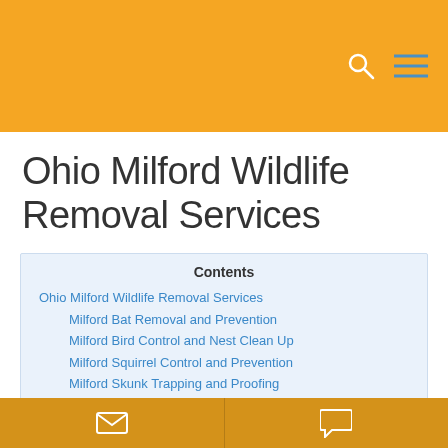Ohio Milford Wildlife Removal Services — navigation bar with search and menu icons
Ohio Milford Wildlife Removal Services
Contents
Ohio Milford Wildlife Removal Services
Milford Bat Removal and Prevention
Milford Bird Control and Nest Clean Up
Milford Squirrel Control and Prevention
Milford Skunk Trapping and Proofing
Email and chat contact buttons